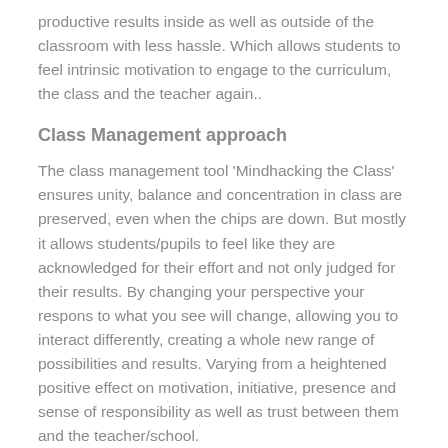productive results inside as well as outside of the classroom with less hassle. Which allows students to feel intrinsic motivation to engage to the curriculum, the class and the teacher again..
Class Management approach
The class management tool 'Mindhacking the Class' ensures unity, balance and concentration in class are preserved, even when the chips are down. But mostly it allows students/pupils to feel like they are acknowledged for their effort and not only judged for their results. By changing your perspective your respons to what you see will change, allowing you to interact differently, creating a whole new range of possibilities and results. Varying from a heightened positive effect on motivation, initiative, presence and sense of responsibility as well as trust between them and the teacher/school.